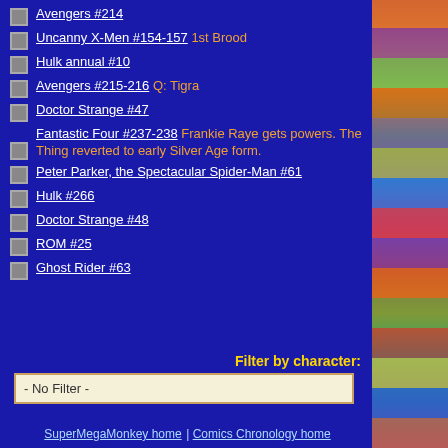Avengers #214
Uncanny X-Men #154-157 1st Brood
Hulk annual #10
Avengers #215-216 Q: Tigra
Doctor Strange #47
Fantastic Four #237-238 Frankie Raye gets powers. The Thing reverted to early Silver Age form.
Peter Parker, the Spectacular Spider-Man #61
Hulk #266
Doctor Strange #48
ROM #25
Ghost Rider #63
Filter by character:
- No Filter -
SuperMegaMonkey home | Comics Chronology home